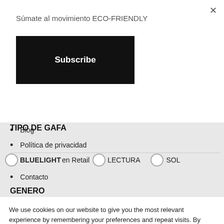Súmate al movimiento ECO-FRIENDLY
Subscribe
TIPO DE GAFA
Blog
Política de privacidad
BLUELIGHT en Retail  LECTURA  SOL
Contacto
GENERO
We use cookies on our website to give you the most relevant experience by remembering your preferences and repeat visits. By clicking "Accept All", you consent to the use of ALL the cookies. However, you may visit "Cookie Settings" to provide a controlled consent.
Cookie Settings
Accept All